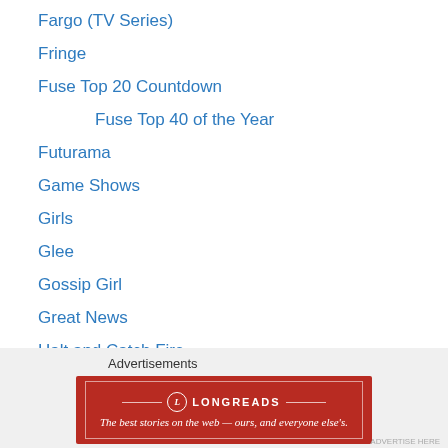Fargo (TV Series)
Fringe
Fuse Top 20 Countdown
Fuse Top 40 of the Year
Futurama
Game Shows
Girls
Glee
Gossip Girl
Great News
Halt and Catch Fire
Hannibal
Happy Endings
HarmonQuest
Hello Ladies
High School USA!
Advertisements
[Figure (other): Longreads advertisement banner: 'The best stories on the web — ours, and everyone else's.']